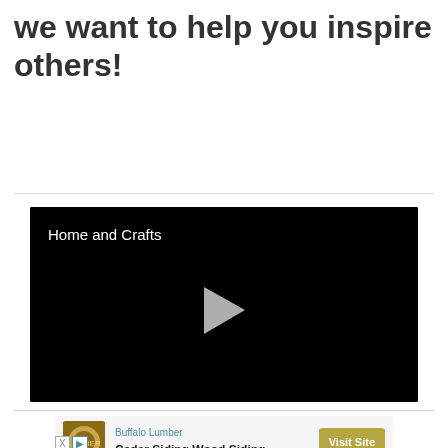we want to help you inspire others!
[Figure (screenshot): Black video player thumbnail with text 'Home and Crafts' in the upper left and a white play button triangle in the center.]
[Figure (other): Advertisement banner for Buffalo Lumber - Cedar Siding Wood Siding with a Visit Site button and logo.]